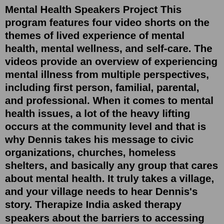Mental Health Speakers Project This program features four video shorts on the themes of lived experience of mental health, mental wellness, and self-care. The videos provide an overview of experiencing mental illness from multiple perspectives, including first person, familial, parental, and professional. When it comes to mental health issues, a lot of the heavy lifting occurs at the community level and that is why Dennis takes his message to civic organizations, churches, homeless shelters, and basically any group that cares about mental health. It truly takes a village, and your village needs to hear Dennis's story. Therapize India asked therapy speakers about the barriers to accessing mental healthcare today, and 40 per cent of them claimed that "affordability and a lack of transparency around therapy fees is a big hurdle". ... Mpower has launched a toll-free mental health support helpline at the onset of the pandemic in 2020. Giving you access to trained ...Post Partum Support International runs a range of groups for all kinds of...